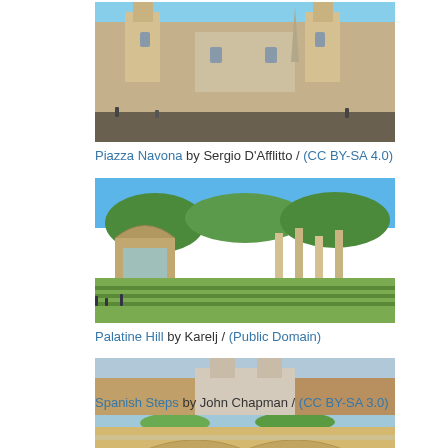[Figure (photo): Piazza Navona, Rome - baroque church and obelisk in a piazza]
Piazza Navona by Sergio D'Afflitto / (CC BY-SA 4.0)
[Figure (photo): Palatine Hill, Rome - ancient ruins and green lawns with arch]
Palatine Hill by Karelj / (Public Domain)
[Figure (photo): Spanish Steps, Rome - crowded steps with church at top]
Spanish Steps by John Chapman / (CC BY-SA 3.0)
[Figure (photo): Bridge over river in Rome, partially visible at bottom]